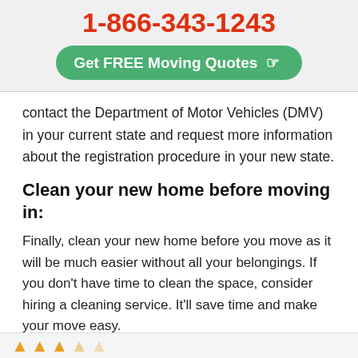1-866-343-1243
Get FREE Moving Quotes ☞
contact the Department of Motor Vehicles (DMV) in your current state and request more information about the registration procedure in your new state.
Clean your new home before moving in:
Finally, clean your new home before you move as it will be much easier without all your belongings. If you don't have time to clean the space, consider hiring a cleaning service. It'll save time and make your move easy.
By following the above tips, you will have a smooth and successful relocation well before the moving day.
★ ★ ★ ☆ ☆